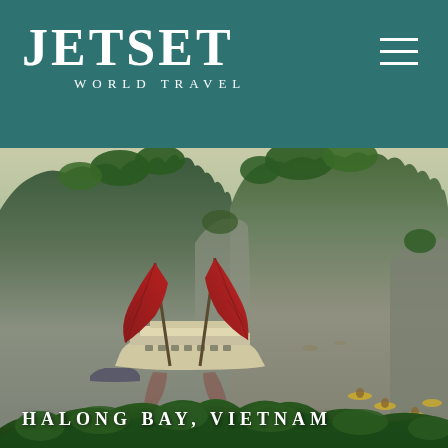JETSET WORLD TRAVEL
[Figure (photo): Scenic view of Halong Bay, Vietnam. A traditional Vietnamese junk boat with two large red sails floats on calm greenish water surrounded by dramatic limestone karst islands covered in lush green vegetation. Several kayakers are visible in the water. The sky is hazy and overcast. Foreground shows some green foliage at the bottom edge.]
HALONG BAY, VIETNAM